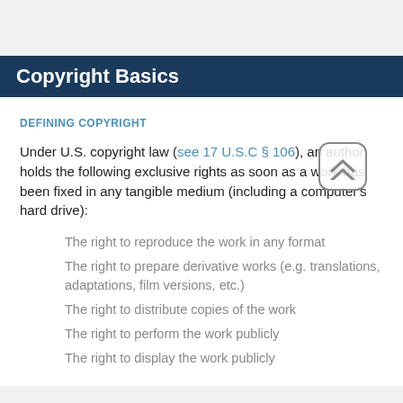Copyright Basics
DEFINING COPYRIGHT
Under U.S. copyright law (see 17 U.S.C § 106), an author holds the following exclusive rights as soon as a work has been fixed in any tangible medium (including a computer's hard drive):
The right to reproduce the work in any format
The right to prepare derivative works (e.g. translations, adaptations, film versions, etc.)
The right to distribute copies of the work
The right to perform the work publicly
The right to display the work publicly